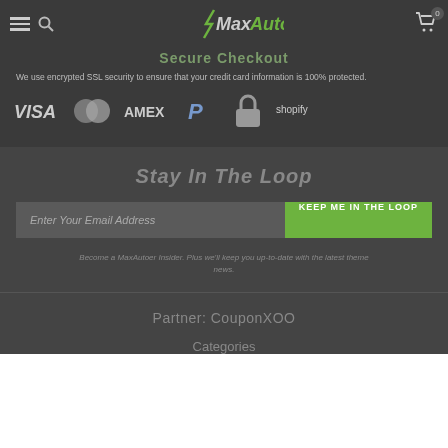MaxAuto — navigation header with hamburger menu, search icon, logo, and cart
Secure Checkout
We use encrypted SSL security to ensure that your credit card information is 100% protected.
[Figure (logo): Payment method logos: VISA, Mastercard, AMEX, PayPal, lock icon, Shopify]
Stay In The Loop
Enter Your Email Address — KEEP ME IN THE LOOP button
Become a MaxAutoer Insider. Plus we'll keep you up-to-date with the latest theme news.
Partner: CouponXOO
Categories